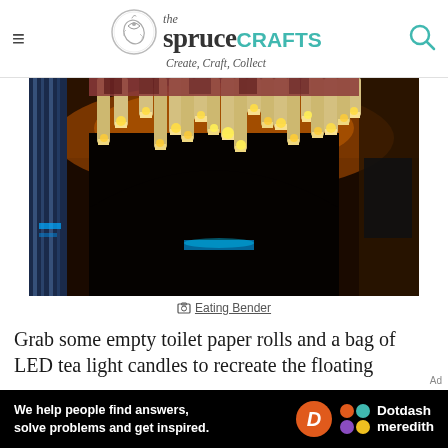the spruce CRAFTS – Create, Craft, Collect
[Figure (photo): Photo of floating candles made from toilet paper rolls with LED tea lights suspended from a ceiling in a dark room with warm orange glow]
Eating Bender
Grab some empty toilet paper rolls and a bag of LED tea light candles to recreate the floating
[Figure (infographic): Dotdash Meredith advertisement banner: 'We help people find answers, solve problems and get inspired.']